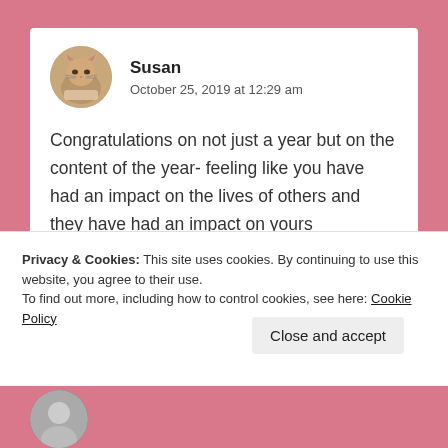[Figure (screenshot): A blog comment section screenshot on a pink background. Shows a user comment by 'Susan' dated October 25, 2019 at 12:29 am with a cat avatar photo, followed by a cookie consent banner at the bottom.]
Susan
October 25, 2019 at 12:29 am
Congratulations on not just a year but on the content of the year- feeling like you have had an impact on the lives of others and they have had an impact on yours
Privacy & Cookies: This site uses cookies. By continuing to use this website, you agree to their use.
To find out more, including how to control cookies, see here: Cookie Policy
Close and accept